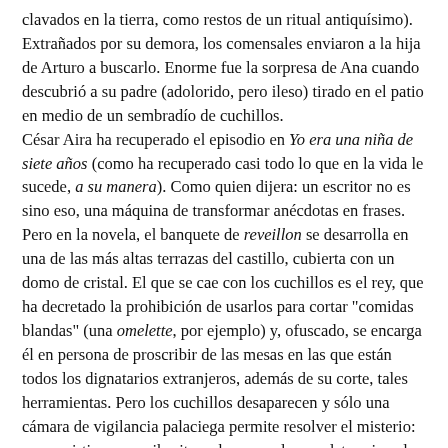clavados en la tierra, como restos de un ritual antiquísimo). Extrañados por su demora, los comensales enviaron a la hija de Arturo a buscarlo. Enorme fue la sorpresa de Ana cuando descubrió a su padre (adolorido, pero ileso) tirado en el patio en medio de un sembradío de cuchillos.
César Aira ha recuperado el episodio en Yo era una niña de siete años (como ha recuperado casi todo lo que en la vida le sucede, a su manera). Como quien dijera: un escritor no es sino eso, una máquina de transformar anécdotas en frases. Pero en la novela, el banquete de reveillon se desarrolla en una de las más altas terrazas del castillo, cubierta con un domo de cristal. El que se cae con los cuchillos es el rey, que ha decretado la prohibición de usarlos para cortar "comidas blandas" (una omelette, por ejemplo) y, ofuscado, se encarga él en persona de proscribir de las mesas en las que están todos los dignatarios extranjeros, además de su corte, tales herramientas. Pero los cuchillos desaparecen y sólo una cámara de vigilancia palaciega permite resolver el misterio: se convirtieron en viboritas y huyeron, lo que determina el abrupto descenso de los índices de popularidad del monarca (las viboritas eran, esa temporada, plaga temida) y el nacimiento de la oposición política en el reino turco de Viscaya.
Son muchas las torsiones a las que somete Aira un episodio nimio.